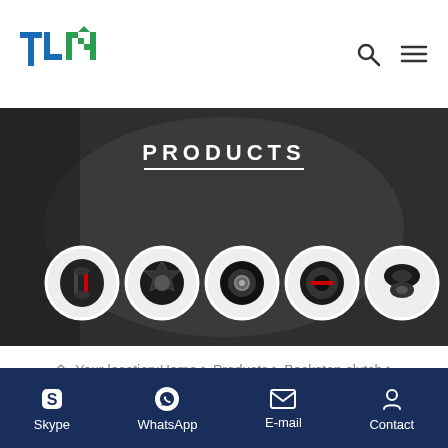TLN logo with search and menu icons
[Figure (screenshot): Product banner with dark background showing PRODUCTS title, underline, and five circular product images of mechanical clutch/bearing components]
Your location: Home > Products > Backstop clutch > One way bearing > CKS Two Way Wedge Ovrrunning Clutch For Printing Brush Machinery
Skype  WhatsApp  E-mail  Contact